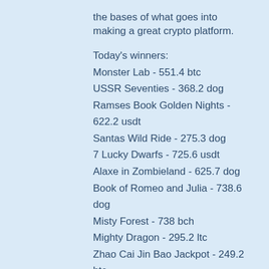the bases of what goes into making a great crypto platform.
Today's winners:
Monster Lab - 551.4 btc
USSR Seventies - 368.2 dog
Ramses Book Golden Nights - 622.2 usdt
Santas Wild Ride - 275.3 dog
7 Lucky Dwarfs - 725.6 usdt
Alaxe in Zombieland - 625.7 dog
Book of Romeo and Julia - 738.6 dog
Misty Forest - 738 bch
Mighty Dragon - 295.2 ltc
Zhao Cai Jin Bao Jackpot - 249.2 btc
Toki Time - 302.4 eth
Big Top - 382.6 ltc
Xcalibur - 547 eth
Fish Party - 201.5 bch
Epic Gladiators - 117.1 btc